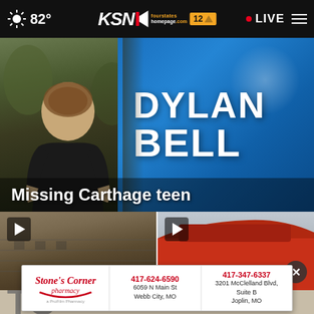82° KSN fourstates homepage.com 12 LIVE
[Figure (screenshot): News broadcast still showing a young man on the left half and a blue graphic with white bold text 'DYLAN BELL' on the right half, with a lower-third caption 'Missing Carthage teen']
Missing Carthage teen
[Figure (screenshot): Two video thumbnails side by side: left shows a building exterior, right shows a red car with close button overlay]
[Figure (other): Stone's Corner Pharmacy advertisement banner with two locations: 417-624-6590 / 6059 N Main St / Webb City, MO and 417-347-6337 / 3201 McClelland Blvd, Suite B / Joplin, MO]